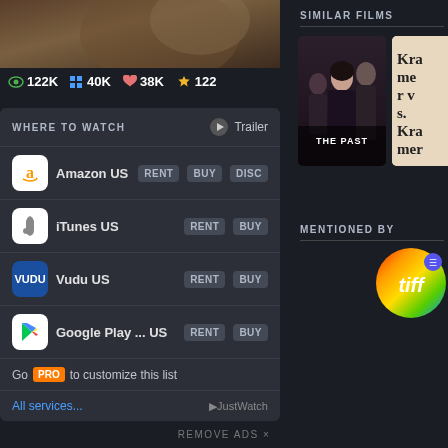[Figure (photo): Movie poster thumbnail showing robed figure, brown tones]
👁 122K  ⊞ 40K  ♥ 38K  👑 122
WHERE TO WATCH
▶ Trailer
Amazon US  RENT  BUY  DISC
iTunes US  RENT  BUY
Vudu US  RENT  BUY
Google Play ... US  RENT  BUY
Go PRO to customize this list
All services...
▶JustWatch
SIMILAR FILMS
[Figure (photo): Film poster: THE PAST, showing three people]
[Figure (photo): Film poster: Kramer vs Kramer]
MENTIONED BY
[Figure (logo): Letterboxd L logo circle]
[Figure (logo): TIFF colorful logo circle]
REMOVE ADS ×